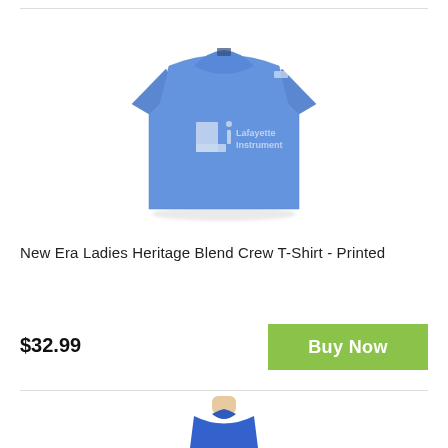[Figure (photo): Blue New Era Ladies Heritage Blend Crew T-Shirt with Lafayette Instrument logo printed on the chest]
New Era Ladies Heritage Blend Crew T-Shirt - Printed
$32.99
Buy Now
[Figure (photo): Partial view of a person wearing a blue crew neck t-shirt]